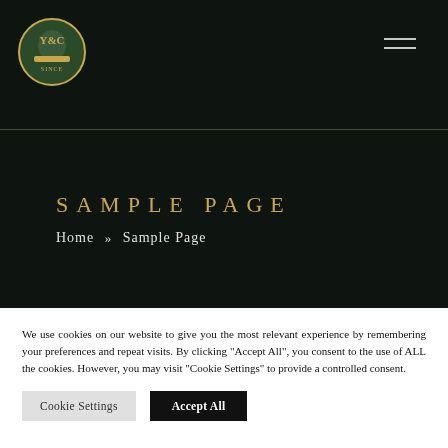[Figure (logo): Y&C circular logo with figure and banner, on dark background header with hamburger menu icon]
SAMPLE PAGE
Home » Sample Page
We use cookies on our website to give you the most relevant experience by remembering your preferences and repeat visits. By clicking "Accept All", you consent to the use of ALL the cookies. However, you may visit "Cookie Settings" to provide a controlled consent.
Cookie Settings | Accept All